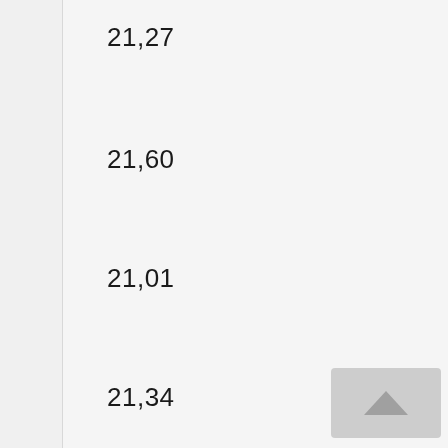21,27
21,60
21,01
21,34
21,47
20,91
21,03
21,62
21,31